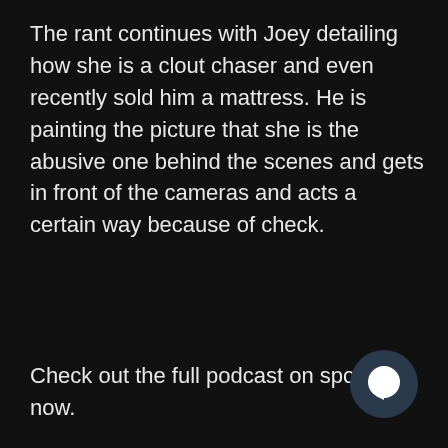The rant continues with Joey detailing how she is a clout chaser and even recently sold him a mattress. He is painting the picture that she is the abusive one behind the scenes and gets in front of the cameras and acts a certain way because of check.
Check out the full podcast on spotify now.
[Figure (illustration): Dark circular chat bubble icon in the bottom-right corner]